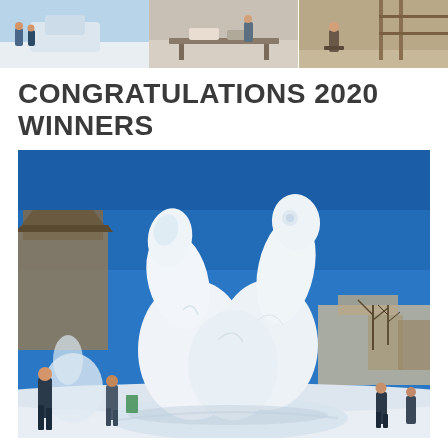[Figure (photo): Three small photos side by side at the top showing people working on snow sculptures in winter settings]
CONGRATULATIONS 2020 WINNERS
[Figure (photo): Large photo of a detailed white snow sculpture depicting intertwined animal figures (bears or sea creatures) against a bright blue sky, with buildings and people visible in the background]